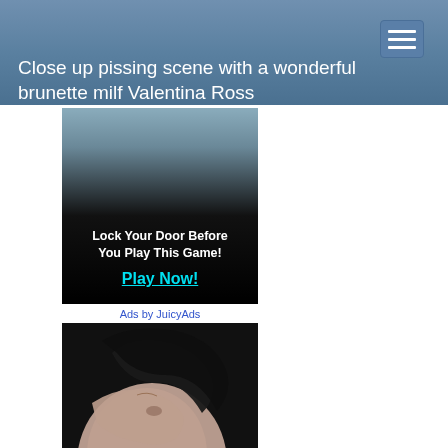Close up pissing scene with a wonderful brunette milf Valentina Ross
[Figure (photo): Advertisement banner with text 'Lock Your Door Before You Play This Game!' and 'Play Now!' button]
Ads by JuicyAds
[Figure (photo): Close-up photo of a brunette woman with dark hair covering part of her face, looking downward]